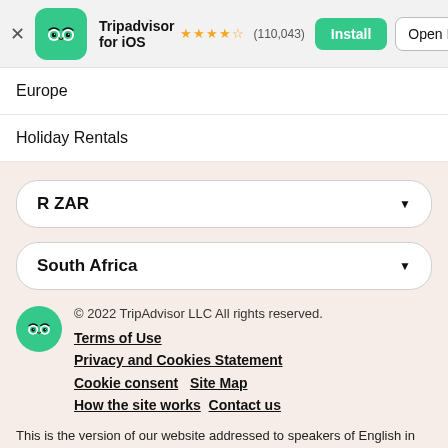[Figure (screenshot): TripAdvisor app banner with owl logo icon on green rounded square, app name 'Tripadvisor for iOS', 4.5 star rating, (110,043) reviews, Install and Open In App buttons]
Europe
Holiday Rentals
R ZAR (dropdown)
South Africa (dropdown)
© 2022 TripAdvisor LLC All rights reserved.
Terms of Use
Privacy and Cookies Statement
Cookie consent   Site Map
How the site works   Contact us
This is the version of our website addressed to speakers of English in South Africa. If you are a resident of another country or region, please select the appropriate version of Tripadvisor for your country or region in